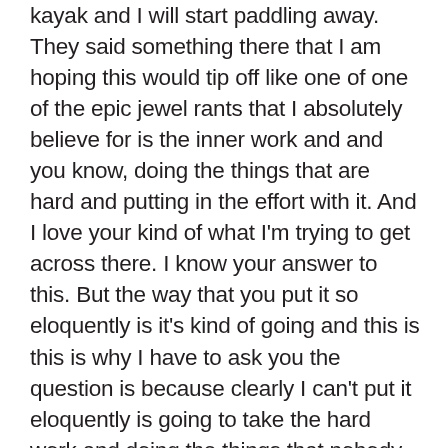kayak and I will start paddling away. They said something there that I am hoping this would tip off like one of one of the epic jewel rants that I absolutely believe for is the inner work and and you know, doing the things that are hard and putting in the effort with it. And I love your kind of what I'm trying to get across there. I know your answer to this. But the way that you put it so eloquently is it's kind of going and this is this is why I have to ask you the question is because clearly I can't put it eloquently is going to take the hard work and doing the things that nobody else is doing. But still also hold that feeling off of ease and doing that. And I think sometimes it's misinterpreted by people coming into the online game in going we see all these people saying, you know, what, if it was easy, and take the path of least resistance and manifested and do all of those different things, and